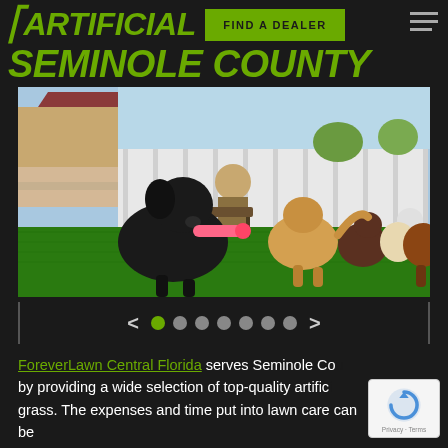ARTIFICIAL GRASS SEMINOLE COUNTY
[Figure (photo): Multiple dogs playing on artificial grass in a fenced yard; black lab in foreground holding a pink toy, several other dogs running on green artificial turf, person sitting on bench in background]
[Figure (infographic): Image carousel navigation bar with left arrow, 7 dots (first active/green), and right arrow, bordered on left and right]
ForeverLawn Central Florida serves Seminole County by providing a wide selection of top-quality artificial grass. The expenses and time put into lawn care can be